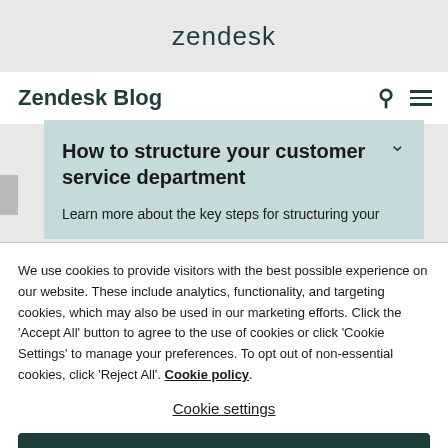zendesk
Zendesk Blog
How to structure your customer service department
Learn more about the key steps for structuring your
We use cookies to provide visitors with the best possible experience on our website. These include analytics, functionality, and targeting cookies, which may also be used in our marketing efforts. Click the 'Accept All' button to agree to the use of cookies or click 'Cookie Settings' to manage your preferences. To opt out of non-essential cookies, click 'Reject All'. Cookie policy
Cookie settings
Reject all